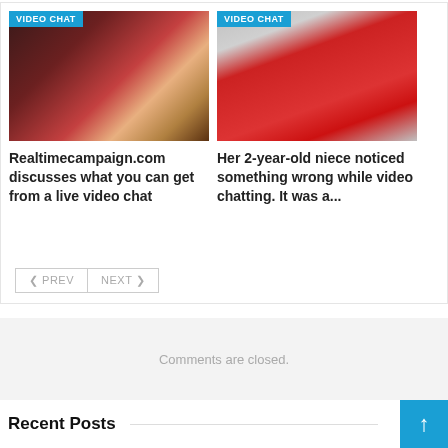[Figure (photo): Left card: photo of hands near laptop and open book, dark reddish tones, with 'VIDEO CHAT' badge]
[Figure (photo): Right card: woman in red outfit standing in front of American Heart Association backdrop, with 'VIDEO CHAT' badge]
Realtimecampaign.com discusses what you can get from a live video chat
Her 2-year-old niece noticed something wrong while video chatting. It was a...
< PREV   NEXT >
Comments are closed.
Recent Posts